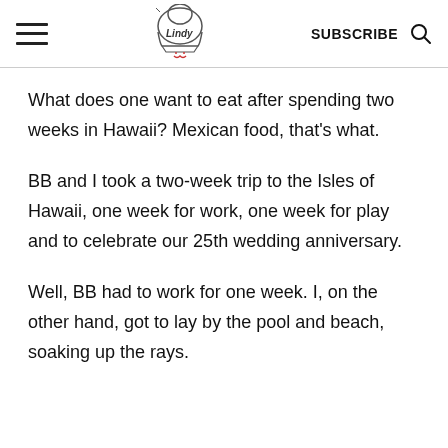Lindy's [logo] SUBSCRIBE [search icon]
What does one want to eat after spending two weeks in Hawaii? Mexican food, that's what.
BB and I took a two-week trip to the Isles of Hawaii, one week for work, one week for play and to celebrate our 25th wedding anniversary.
Well, BB had to work for one week. I, on the other hand, got to lay by the pool and beach, soaking up the rays.